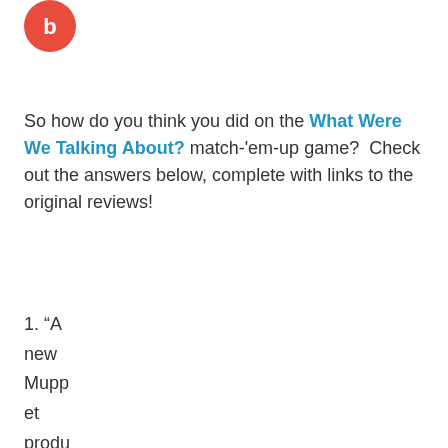[Figure (logo): Red circular logo/icon at top left]
So how do you think you did on the What Were We Talking About? match-'em-up game?  Check out the answers below, complete with links to the original reviews!
1. “A new Mupp et produ ction like this just fills Muppet fans up with energy. It makes us bounce around